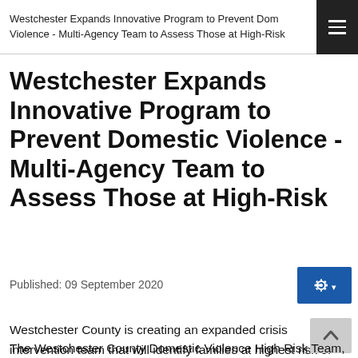Westchester Expands Innovative Program to Prevent Domestic Violence - Multi-Agency Team to Assess Those at High-Risk
Westchester Expands Innovative Program to Prevent Domestic Violence - Multi-Agency Team to Assess Those at High-Risk
Published: 09 September 2020
Westchester County is creating an expanded crisis intervention team that will identify families at highest risk of deadly domestic violence and intervene to save lives by providing immediate support and services.
The Westchester County Domestic Violence High Risk Team,